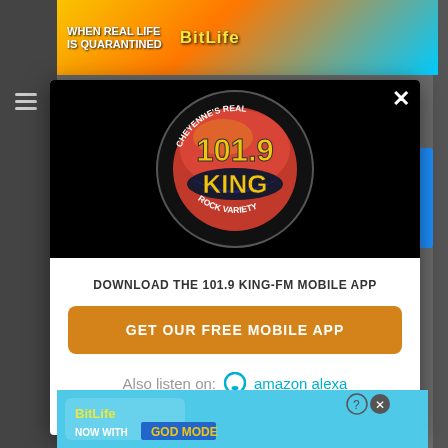[Figure (logo): 101.9 KING-FM radio station logo - circular badge with yellow '101.9' text, 'KING' in large yellow letters on red background, 'Cheyenne's Real Rock Variety' text around the border, black background]
DOWNLOAD THE 101.9 KING-FM MOBILE APP
GET OUR FREE MOBILE APP
Also listen on:  amazon alexa
[Figure (photo): BitLife mobile game advertisement banner at top - rainbow colors, 'WHEN REAL LIFE IS QUARANTINED' text, BitLife logo]
[Figure (photo): BitLife mobile game advertisement banner at bottom - 'NOW WITH GOD MODE' text, hand pointing graphic]